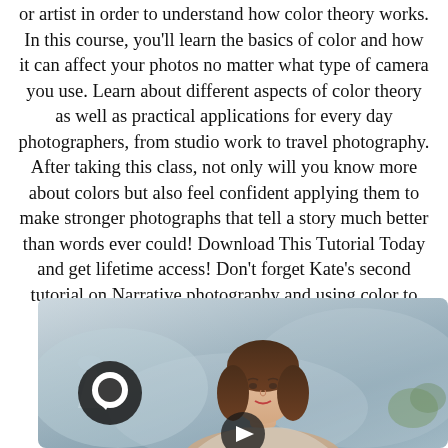or artist in order to understand how color theory works. In this course, you'll learn the basics of color and how it can affect your photos no matter what type of camera you use. Learn about different aspects of color theory as well as practical applications for every day photographers, from studio work to travel photography. After taking this class, not only will you know more about colors but also feel confident applying them to make stronger photographs that tell a story much better than words ever could! Download This Tutorial Today and get lifetime access! Don't forget Kate's second tutorial on Narrative photography and using color to tell story through a narrative.
[Figure (photo): Video thumbnail showing a woman with dark hair speaking to camera, with a blurred blue-grey mountainous background, a chat bubble icon overlay on the left, and a play button at the bottom center.]